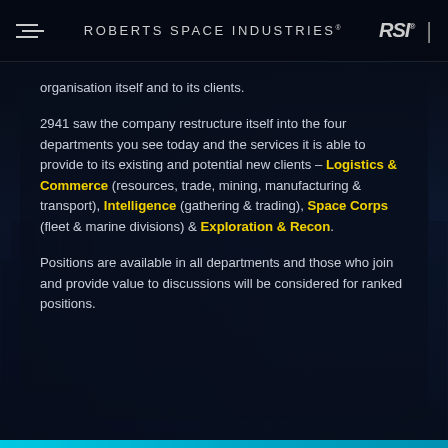ROBERTS SPACE INDUSTRIES®
organisation itself and to its clients.
2941 saw the company restructure itself into the four departments you see today and the services it is able to provide to its existing and potential new clients – Logistics & Commerce (resources, trade, mining, manufacturing & transport), Intelligence (gathering & trading), Space Corps (fleet & marine divisions) & Exploration & Recon.
Positions are available in all departments and those who join and provide value to discussions will be considered for ranked positions.